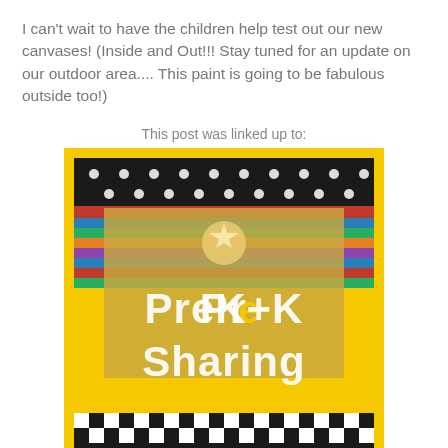I can't wait to have the children help test out our new canvases! (Inside and Out!!! Stay tuned for an update on our outdoor area.... This paint is going to be fabulous outside too!)
This post was linked up to:
[Figure (logo): PreK+K Sharing badge with colorful striped background, black dotted border at top and checkered border at bottom, gold angel/star figure, text reads 'PreK+K Sharing']
Amy A @ Child Central Station - February 27, 2011
Share
4 comments: